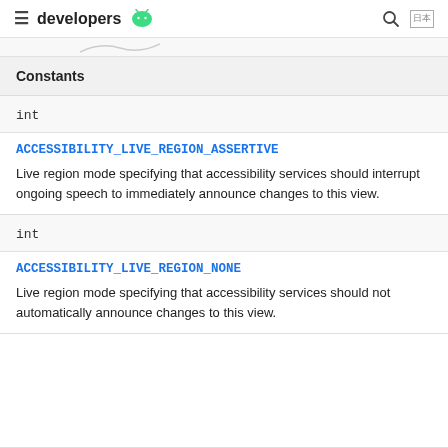developers (Android logo)
Constants
int
ACCESSIBILITY_LIVE_REGION_ASSERTIVE
Live region mode specifying that accessibility services should interrupt ongoing speech to immediately announce changes to this view.
int
ACCESSIBILITY_LIVE_REGION_NONE
Live region mode specifying that accessibility services should not automatically announce changes to this view.